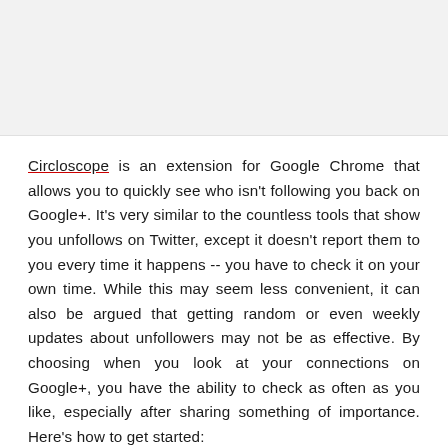[Figure (other): Gray placeholder image area at top of page]
Circloscope is an extension for Google Chrome that allows you to quickly see who isn't following you back on Google+. It's very similar to the countless tools that show you unfollows on Twitter, except it doesn't report them to you every time it happens -- you have to check it on your own time. While this may seem less convenient, it can also be argued that getting random or even weekly updates about unfollowers may not be as effective. By choosing when you look at your connections on Google+, you have the ability to check as often as you like, especially after sharing something of importance. Here's how to get started:
Advertisement